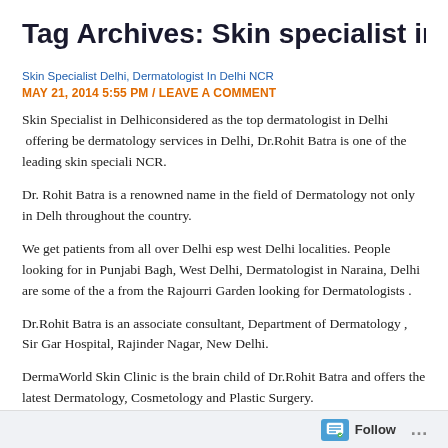Tag Archives: Skin specialist in ce
Skin Specialist Delhi, Dermatologist In Delhi NCR
MAY 21, 2014 5:55 PM / LEAVE A COMMENT
Skin Specialist in Delhiconsidered as the top dermatologist in Delhi  offering be dermatology services in Delhi, Dr.Rohit Batra is one of the leading skin speciali NCR.
Dr. Rohit Batra is a renowned name in the field of Dermatology not only in Delh throughout the country.
We get patients from all over Delhi esp west Delhi localities. People looking for in Punjabi Bagh, West Delhi, Dermatologist in Naraina, Delhi are some of the a from the Rajourri Garden looking for Dermatologists .
Dr.Rohit Batra is an associate consultant, Department of Dermatology , Sir Gar Hospital, Rajinder Nagar, New Delhi.
DermaWorld Skin Clinic is the brain child of Dr.Rohit Batra and offers the latest Dermatology, Cosmetology and Plastic Surgery.
Follow